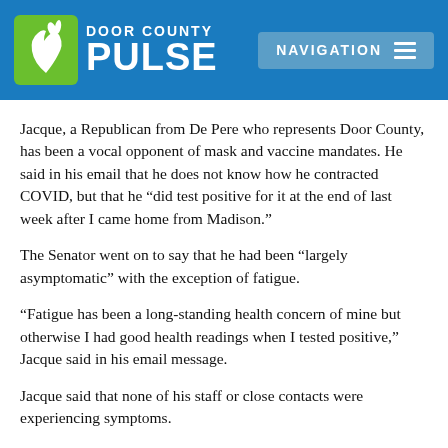[Figure (logo): Door County Pulse logo with blue background, green rabbit/deer icon, white text reading DOOR COUNTY PULSE, and a navigation button]
Jacque, a Republican from De Pere who represents Door County, has been a vocal opponent of mask and vaccine mandates. He said in his email that he does not know how he contracted COVID, but that he “did test positive for it at the end of last week after I came home from Madison.”
The Senator went on to say that he had been “largely asymptomatic” with the exception of fatigue.
“Fatigue has been a long-standing health concern of mine but otherwise I had good health readings when I tested positive,” Jacque said in his email message.
Jacque said that none of his staff or close contacts were experiencing symptoms.
“My office has been following all recommended guidance…